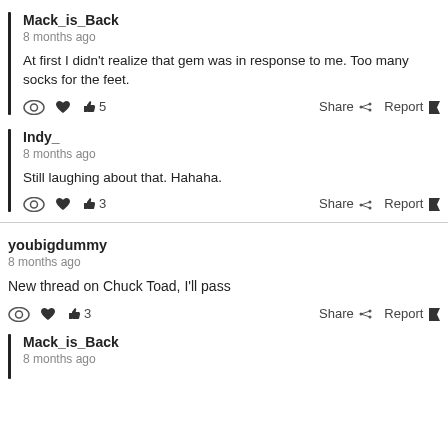Mack_is_Back
8 months ago
At first I didn't realize that gem was in response to me. Too many socks for the feet.
Share   Report  👍5
Indy_
8 months ago
Still laughing about that. Hahaha.
Share   Report  👍3
youbigdummy
8 months ago
New thread on Chuck Toad, I'll pass
Share   Report  👍3
Mack_is_Back
8 months ago